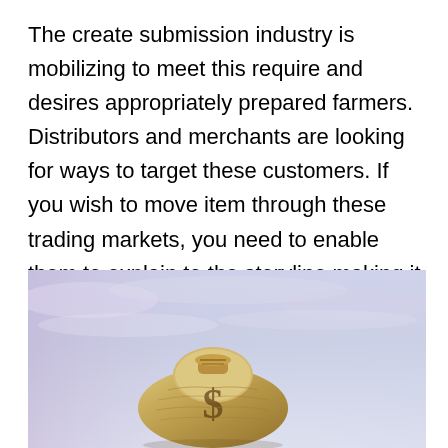The create submission industry is mobilizing to meet this require and desires appropriately prepared farmers. Distributors and merchants are looking for ways to target these customers. If you wish to move item through these trading markets, you need to enable them to explain to the storyline making it easy for them to do business with you.
[Figure (photo): A burlap money bag with a dollar sign on it, set against a soft blue and purple sky background.]